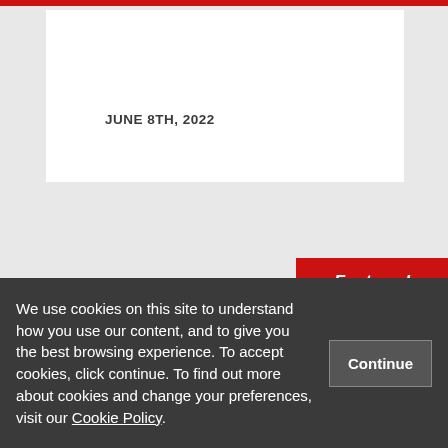JUNE 8TH, 2022
Featured
Oldham by-election: an objective
We use cookies on this site to understand how you use our content, and to give you the best browsing experience. To accept cookies, click continue. To find out more about cookies and change your preferences, visit our Cookie Policy.
Continue